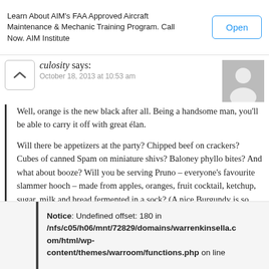Learn About AIM's FAA Approved Aircraft Maintenance & Mechanic Training Program. Call Now. AIM Institute
culosity says:
October 18, 2013 at 10:53 am
Well, orange is the new black after all. Being a handsome man, you'll be able to carry it off with great élan.
Will there be appetizers at the party? Chipped beef on crackers? Cubes of canned Spam on miniature shivs? Baloney phyllo bites? And what about booze? Will you be serving Pruno – everyone's favourite slammer hooch – made from apples, oranges, fruit cocktail, ketchup, sugar, milk and bread fermented in a sock? (A nice Burgundy is so yesterday.)
Reply
Notice: Undefined offset: 180 in /nfs/c05/h06/mnt/72829/domains/warrenkinsella.com/html/wp-content/themes/warroom/functions.php on line